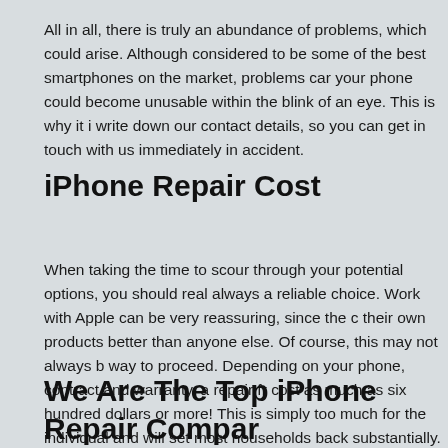All in all, there is truly an abundance of problems, which could arise. Although considered to be some of the best smartphones on the market, problems can your phone could become unusable within the blink of an eye. This is why it i write down our contact details, so you can get in touch with us immediately in accident.
iPhone Repair Cost
When taking the time to scour through your potential options, you should rea always a reliable choice. Work with Apple can be very reassuring, since the c their own products better than anyone else. Of course, this may not always b way to proceed. Depending on your phone, contract and warranty, a repair fr cost as much as six hundred dollars or more! This is simply too much for the individual and will set most households back substantially.
We Are The Top iPhone Repair Compar Houston